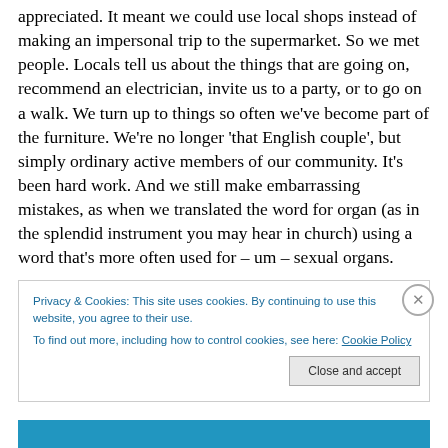appreciated. It meant we could use local shops instead of making an impersonal trip to the supermarket. So we met people. Locals tell us about the things that are going on, recommend an electrician, invite us to a party, or to go on a walk. We turn up to things so often we've become part of the furniture. We're no longer 'that English couple', but simply ordinary active members of our community. It's been hard work. And we still make embarrassing mistakes, as when we translated the word for organ (as in the splendid instrument you may hear in church) using a word that's more often used for – um – sexual organs.
Privacy & Cookies: This site uses cookies. By continuing to use this website, you agree to their use.
To find out more, including how to control cookies, see here: Cookie Policy